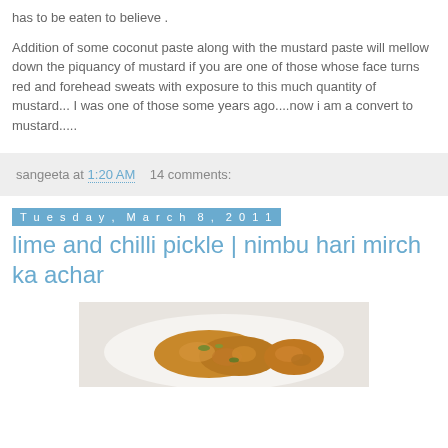has to be eaten to believe .
Addition of some coconut paste along with the mustard paste will mellow down the piquancy of mustard if you are one of those whose face turns red and forehead sweats with exposure to this much quantity of mustard... I was one of those some years ago....now i am a convert to mustard.....
sangeeta at 1:20 AM   14 comments:
Tuesday, March 8, 2011
lime and chilli pickle | nimbu hari mirch ka achar
[Figure (photo): Photo of lime and chilli pickle served on a white plate, showing orange-yellow pickle with green chilli pieces]